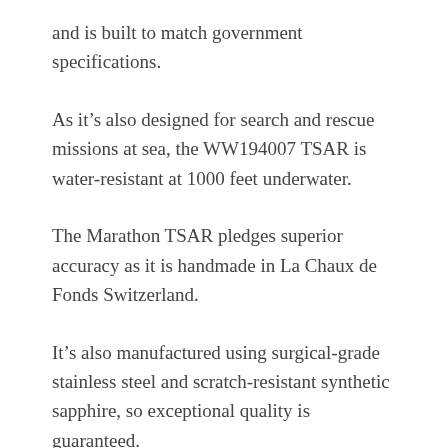and is built to match government specifications.
As it’s also designed for search and rescue missions at sea, the WW194007 TSAR is water-resistant at 1000 feet underwater.
The Marathon TSAR pledges superior accuracy as it is handmade in La Chaux de Fonds Switzerland.
It’s also manufactured using surgical-grade stainless steel and scratch-resistant synthetic sapphire, so exceptional quality is guaranteed.